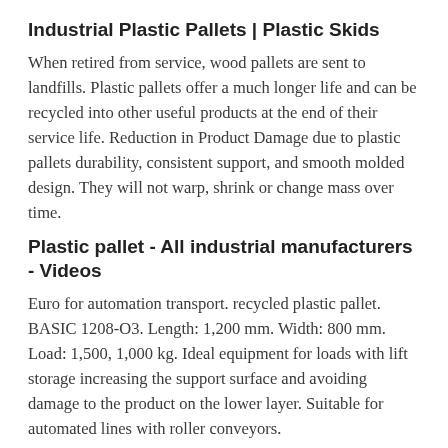Industrial Plastic Pallets | Plastic Skids
When retired from service, wood pallets are sent to landfills. Plastic pallets offer a much longer life and can be recycled into other useful products at the end of their service life. Reduction in Product Damage due to plastic pallets durability, consistent support, and smooth molded design. They will not warp, shrink or change mass over time.
Plastic pallet - All industrial manufacturers - Videos
Euro for automation transport. recycled plastic pallet. BASIC 1208-O3. Length: 1,200 mm. Width: 800 mm. Load: 1,500, 1,000 kg. Ideal equipment for loads with lift storage increasing the support surface and avoiding damage to the product on the lower layer. Suitable for automated lines with roller conveyors.